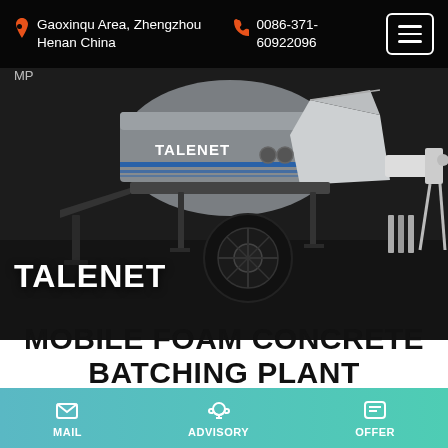Gaoxinqu Area, Zhengzhou Henan China | 0086-371-60922096
[Figure (photo): TALENET branded mobile foam concrete batching plant / trailer-mounted concrete pump machine on dark background. Logo text TALENET visible on machine body with blue horizontal stripes.]
MOBILE FOAM CONCRETE BATCHING PLANT
MAIL | ADVISORY | OFFER